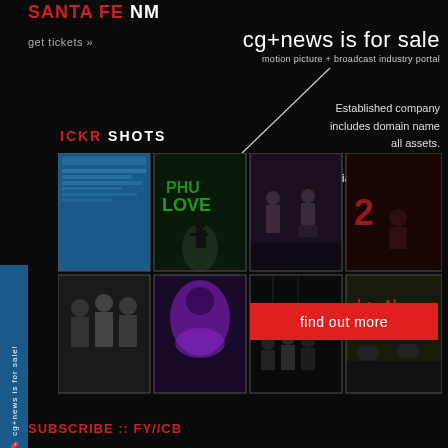SANTA FE NM
get tickets »
cg+news is for sale
motion picture + broadcast industry portal
Established company includes domain name all assets. BONUS: includes social media accounts
FLICKR SHOTS
[Figure (photo): Grid of 8 photo thumbnails from a film/media event, showing conference scenes, performers, and attendees]
find out more
SUBSCRIBE :: FY//CB
cg+news is for sale!